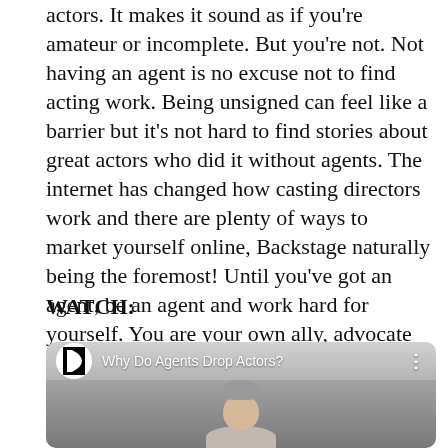actors. It makes it sound as if you're amateur or incomplete. But you're not. Not having an agent is no excuse not to find acting work. Being unsigned can feel like a barrier but it's not hard to find stories about great actors who did it without agents. The internet has changed how casting directors work and there are plenty of ways to market yourself online, Backstage naturally being the foremost! Until you've got an agent, be an agent and work hard for yourself. You are your own ally, advocate and, best of all, boss.
WATCH:
[Figure (screenshot): Video thumbnail showing Backstage logo and title 'Why Do Agents Drop Actors?' with a man visible at the bottom of the frame]